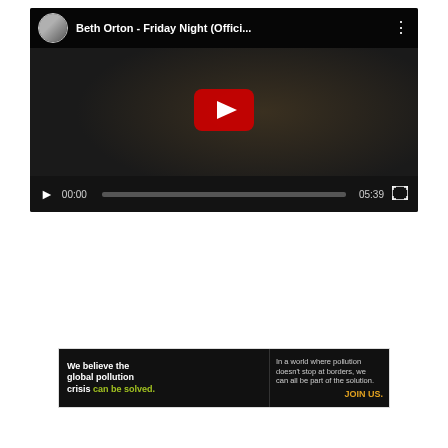[Figure (screenshot): YouTube video player showing 'Beth Orton - Friday Night (Offici...' with a dark thumbnail of a woman's face, red YouTube play button overlay, progress bar at 00:00, total duration 05:39, fullscreen button visible.]
[Figure (screenshot): Pure Earth advertisement banner: black background with text 'We believe the global pollution crisis can be solved.' in white and green, smaller text 'In a world where pollution doesn't stop at borders, we can all be part of the solution.' and 'JOIN US.' in orange/yellow. Pure Earth logo with diamond icon on white background.]